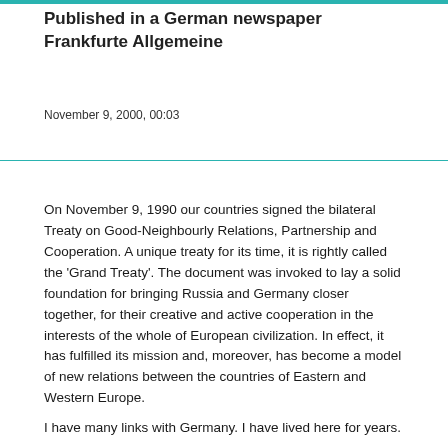Published in a German newspaper Frankfurte Allgemeine
November 9, 2000, 00:03
On November 9, 1990 our countries signed the bilateral Treaty on Good-Neighbourly Relations, Partnership and Cooperation. A unique treaty for its time, it is rightly called the ‘Grand Treaty’. The document was invoked to lay a solid foundation for bringing Russia and Germany closer together, for their creative and active cooperation in the interests of the whole of European civilization. In effect, it has fulfilled its mission and, moreover, has become a model of new relations between the countries of Eastern and Western Europe.
I have many links with Germany. I have lived here for years.